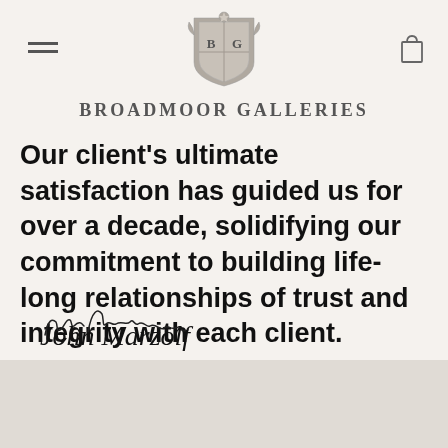[Figure (logo): Broadmoor Galleries crest logo with B and G letters in an ornate shield]
BROADMOOR GALLERIES
Our client's ultimate satisfaction has guided us for over a decade, solidifying our commitment to building life-long relationships of trust and integrity with each client.
[Figure (illustration): Handwritten cursive signature reading John Marzolf]